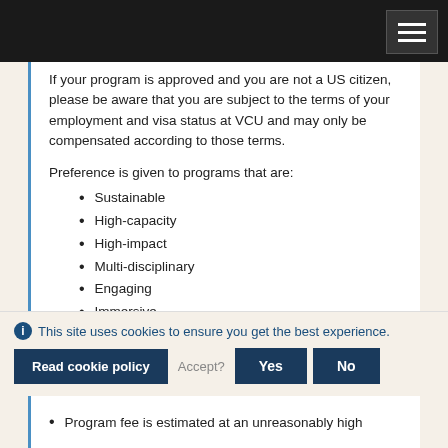If your program is approved and you are not a US citizen, please be aware that you are subject to the terms of your employment and visa status at VCU and may only be compensated according to those terms.
Preference is given to programs that are:
Sustainable
High-capacity
High-impact
Multi-disciplinary
Engaging
Immersive
Affordable
Programs may not be approved for a variety of reasons
This site uses cookies to ensure you get the best experience.
Program fee is estimated at an unreasonably high